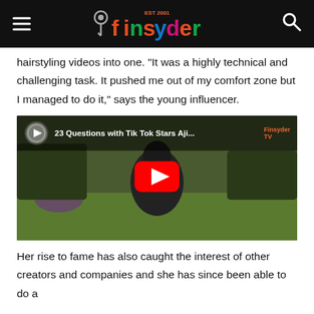Finsyder EST 2001
hairstyling videos into one. "It was a highly technical and challenging task. It pushed me out of my comfort zone but I managed to do it," says the young influencer.
[Figure (screenshot): YouTube video thumbnail showing '23 Questions with Tik Tok Stars Aji...' with a person sitting on grass outdoors, featuring a red YouTube play button overlay and Finsyder TV branding]
Her rise to fame has also caught the interest of other creators and companies and she has since been able to do a